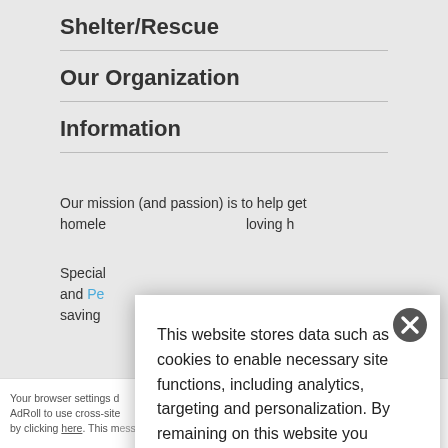Shelter/Rescue
Our Organization
Information
Our mission (and passion) is to help get homeless pets into loving h…
Special… and Pe… saving…
This website stores data such as cookies to enable necessary site functions, including analytics, targeting and personalization. By remaining on this website you indicate your consent.
Cookie Policy
Your browser settings d… AdRoll to use cross-site… by clicking here. This message only appears once.